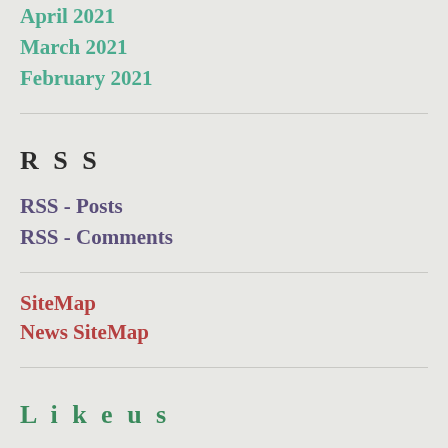April 2021
March 2021
February 2021
RSS
RSS - Posts
RSS - Comments
SiteMap
News SiteMap
Like us